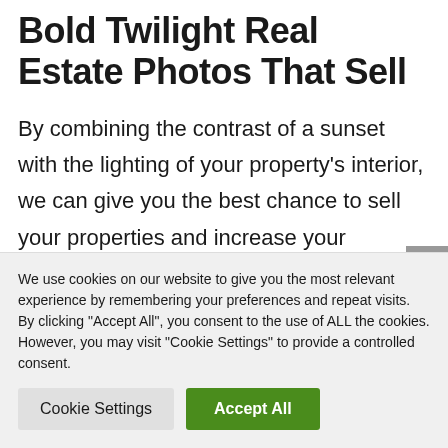Bold Twilight Real Estate Photos That Sell
By combining the contrast of a sunset with the lighting of your property's interior, we can give you the best chance to sell your properties and increase your customer satisfaction rates. Buyers often look through hundreds of property listings, but
We use cookies on our website to give you the most relevant experience by remembering your preferences and repeat visits. By clicking "Accept All", you consent to the use of ALL the cookies. However, you may visit "Cookie Settings" to provide a controlled consent.